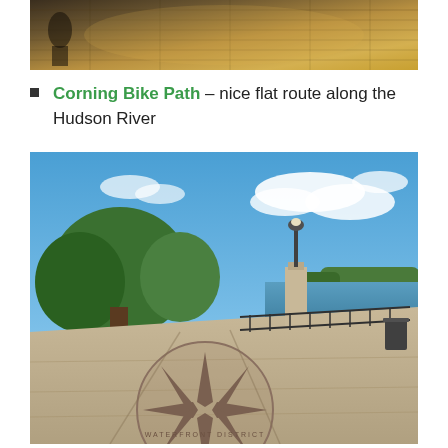[Figure (photo): Top portion of a photo, appears to show a walkway or steps with warm golden/amber lighting, stone or wooden surface with directional light]
Corning Bike Path – nice flat route along the Hudson River
[Figure (photo): Outdoor photo of a waterfront promenade/plaza on a sunny day with blue sky and clouds. Trees on left, a lamp post on a stone pillar, iron fence along the Hudson River. In the foreground, a compass rose or star design is inlaid into the concrete pavement.]